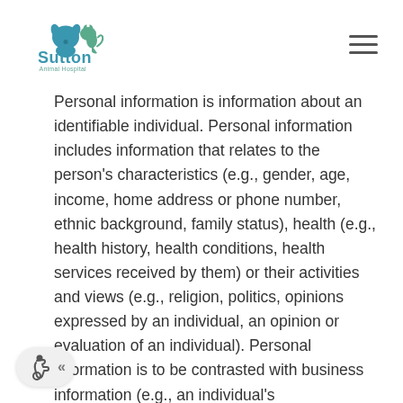Sutton Animal Hospital
Personal information is information about an identifiable individual. Personal information includes information that relates to the person's characteristics (e.g., gender, age, income, home address or phone number, ethnic background, family status), health (e.g., health history, health conditions, health services received by them) or their activities and views (e.g., religion, politics, opinions expressed by an individual, an opinion or evaluation of an individual). Personal information is to be contrasted with business information (e.g., an individual's